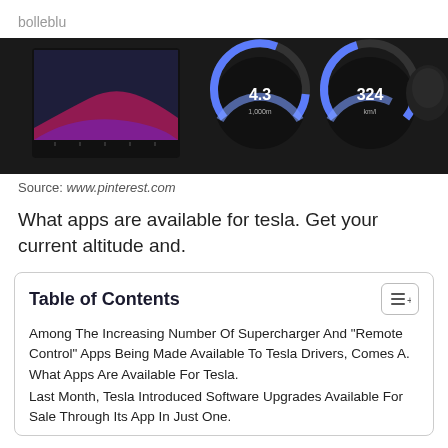bolleblu
[Figure (photo): Dark dashboard display showing graphs and circular gauges with values 4.3 and 324]
Source: www.pinterest.com
What apps are available for tesla. Get your current altitude and.
Table of Contents
Among The Increasing Number Of Supercharger And "Remote Control" Apps Being Made Available To Tesla Drivers, Comes A.
What Apps Are Available For Tesla.
Last Month, Tesla Introduced Software Upgrades Available For Sale Through Its App In Just One.